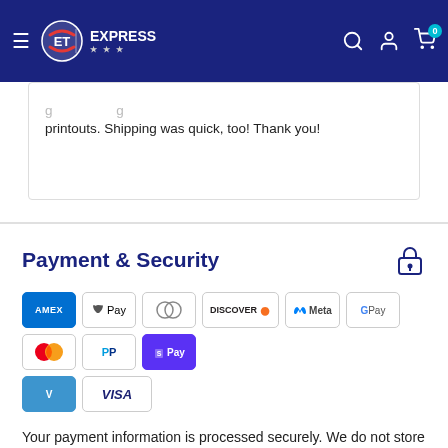EXPRESS — navigation bar with hamburger menu, logo, search, account, and cart (0 items)
printouts. Shipping was quick, too! Thank you!
Payment & Security
[Figure (infographic): Payment method logos: Amex, Apple Pay, Diners Club, Discover, Meta Pay, Google Pay, Mastercard, PayPal, Shop Pay, Venmo, Visa]
Your payment information is processed securely. We do not store credit card details nor have access to your credit card information.